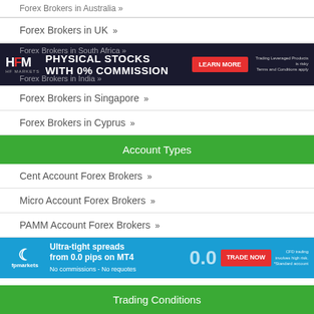Forex Brokers in Australia »
Forex Brokers in UK »
[Figure (infographic): HF Markets advertisement banner: PHYSICAL STOCKS WITH 0% COMMISSION, LEARN MORE button. Dark background with overlaid text for Forex Brokers in South Africa and Forex Brokers in India.]
Forex Brokers in Singapore »
Forex Brokers in Cyprus »
Account Types
Cent Account Forex Brokers »
Micro Account Forex Brokers »
PAMM Account Forex Brokers »
[Figure (infographic): FP Markets advertisement: Ultra-tight spreads from 0.0 pips on MT4, No commissions - No requotes, TRADE NOW button, CFD trading involves high risk.]
Trading Conditions